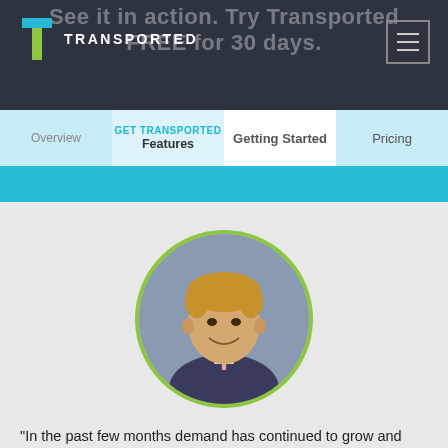See it in action. Try Transported FREE for 30 days.
[Figure (logo): Transported logo with T icon and wordmark in white on dark background]
[Figure (other): Hamburger menu button (three horizontal lines) in top right corner]
GET TRANSPORTED
Overview | Features | Getting Started | Pricing
[Figure (photo): Circular profile photo of a young man in a suit, smiling, with a yellow-green border]
“In the past few months demand has continued to grow and we’ve now helped clients in real estate, business